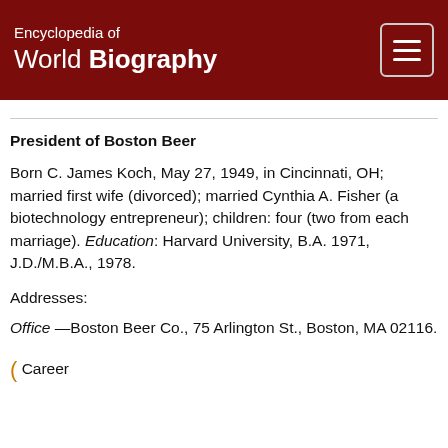Encyclopedia of World Biography
President of Boston Beer
Born C. James Koch, May 27, 1949, in Cincinnati, OH; married first wife (divorced); married Cynthia A. Fisher (a biotechnology entrepreneur); children: four (two from each marriage). Education: Harvard University, B.A. 1971, J.D./M.B.A., 1978.
Addresses:
Office —Boston Beer Co., 75 Arlington St., Boston, MA 02116.
Career